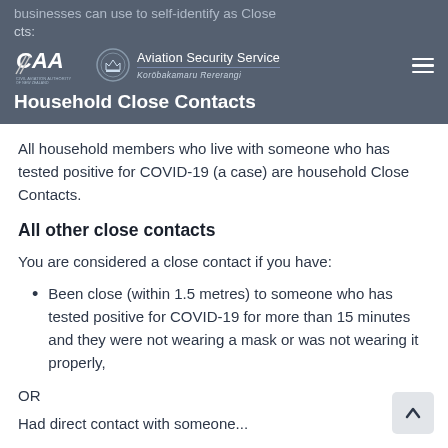businesses can use to self-identify as Close contacts:
Aviation Security Service — Korōbakamaru Rererangi | Household Close Contacts
Household Close Contacts
All household members who live with someone who has tested positive for COVID-19 (a case) are household Close Contacts.
All other close contacts
You are considered a close contact if you have:
Been close (within 1.5 metres) to someone who has tested positive for COVID-19 for more than 15 minutes and they were not wearing a mask or was not wearing it properly,
OR
Had direct contact with someone...